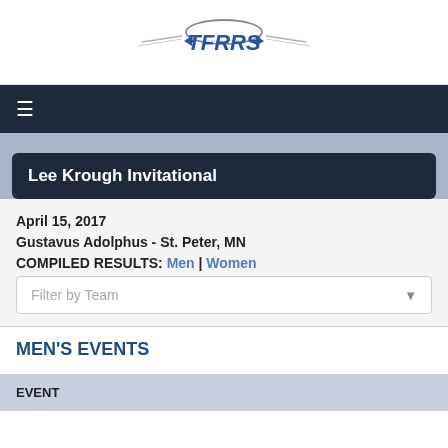[Figure (logo): TFRRS logo with wing-like elements on each side and text TFRRS in blue]
Lee Krough Invitational
April 15, 2017
Gustavus Adolphus - St. Peter, MN
COMPILED RESULTS: Men | Women
MEN'S EVENTS
| EVENT |
| --- |